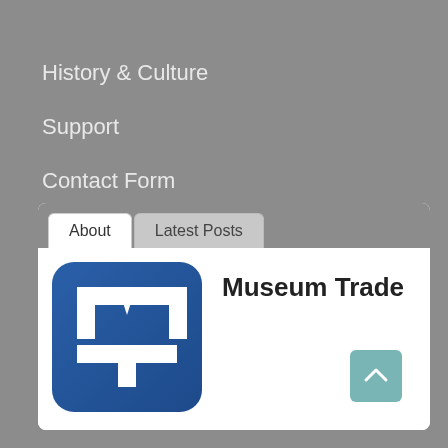History & Culture
Support
Contact Form
Content Request
Contribute
***GEAR***
[Figure (screenshot): Widget box with About and Latest Posts tabs, Museum Trade logo and name]
Museum Trade